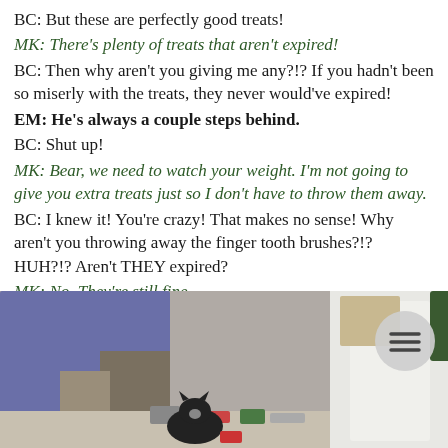BC: But these are perfectly good treats!
MK: There's plenty of treats that aren't expired!
BC: Then why aren't you giving me any?!? If you hadn't been so miserly with the treats, they never would've expired!
EM: He's always a couple steps behind.
BC: Shut up!
MK: Bear, we need to watch your weight. I'm not going to give you extra treats just so I don't have to throw them away.
BC: I knew it! You're crazy! That makes no sense! Why aren't you throwing away the finger tooth brushes?!? HUH?!? Aren't THEY expired?
MK: No. They're still fine.
BC: I'll never have treats again! I need reinforcements!
[Figure (photo): A cat on the floor near a person's legs, with items scattered around, including bags and products on a shelf in the background.]